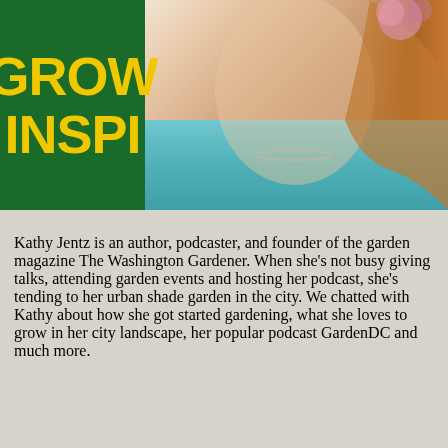[Figure (photo): Photo of Kathy Jentz, a woman with long reddish-brown hair wearing a teal sleeveless top and a necklace, with a green banner on the left side featuring yellow bold text reading 'GROW' and 'INSPI' (partially cropped). Flowers visible in background.]
Kathy Jentz is an author, podcaster, and founder of the garden magazine The Washington Gardener. When she’s not busy giving talks, attending garden events and hosting her podcast, she’s tending to her urban shade garden in the city. We chatted with Kathy about how she got started gardening, what she loves to grow in her city landscape, her popular podcast GardenDC and much more.